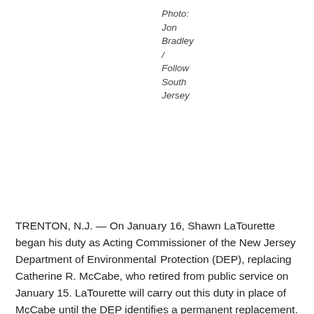Photo: Jon Bradley / Follow South Jersey
TRENTON, N.J. — On January 16, Shawn LaTourette began his duty as Acting Commissioner of the New Jersey Department of Environmental Protection (DEP), replacing Catherine R. McCabe, who retired from public service on January 15. LaTourette will carry out this duty in place of McCabe until the DEP identifies a permanent replacement.
For more than 40 years, McCabe protected the environment, including three years as DEP Commissioner under the Murphy Administration.